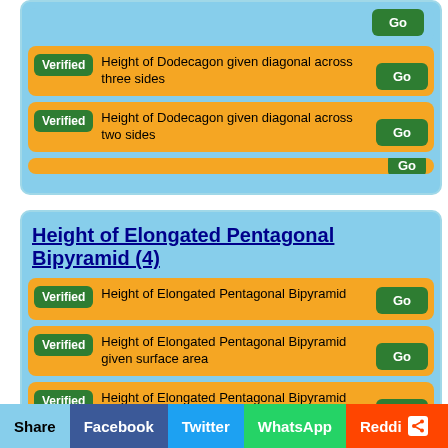Verified  Height of Dodecagon given diagonal across three sides  Go
Verified  Height of Dodecagon given diagonal across two sides  Go
Height of Elongated Pentagonal Bipyramid (4)
Verified  Height of Elongated Pentagonal Bipyramid  Go
Verified  Height of Elongated Pentagonal Bipyramid given surface area  Go
Verified  Height of Elongated Pentagonal Bipyramid given surface to volume ratio  Go
Verified  Height of Elongated Pentagonal Bipyramid given volume  Go
Share  Facebook  Twitter  WhatsApp  Reddit